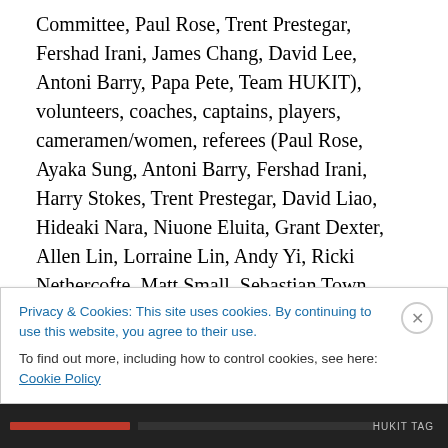Committee, Paul Rose, Trent Prestegar, Fershad Irani, James Chang, David Lee, Antoni Barry, Papa Pete, Team HUKIT), volunteers, coaches, captains, players, cameramen/women, referees (Paul Rose, Ayaka Sung, Antoni Barry, Fershad Irani, Harry Stokes, Trent Prestegar, David Liao, Hideaki Nara, Niuone Eluita, Grant Dexter, Allen Lin, Lorraine Lin, Andy Yi, Ricki Nethercofte, Matt Small, Sebastian Town, Daniel Bowley, Adrian Brink, Spencer Jemelka, Rachel Grantham), Chinese Taipei Rugby Football Union, Taipei International Rugby Football Club (Taipei Baboons), parents (mother of the year, Mrs
Privacy & Cookies: This site uses cookies. By continuing to use this website, you agree to their use.
To find out more, including how to control cookies, see here: Cookie Policy
Close and accept